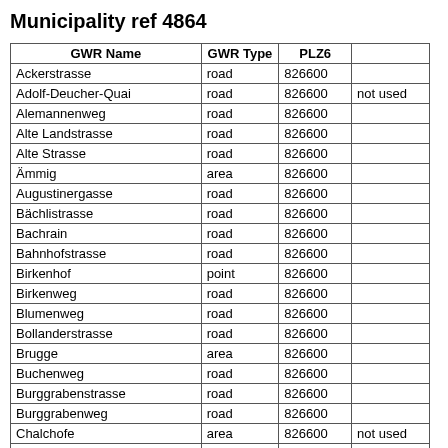Municipality ref 4864
| GWR Name | GWR Type | PLZ6 |  |
| --- | --- | --- | --- |
| Ackerstrasse | road | 826600 |  |
| Adolf-Deucher-Quai | road | 826600 | not used |
| Alemannenweg | road | 826600 |  |
| Alte Landstrasse | road | 826600 |  |
| Alte Strasse | road | 826600 |  |
| Ämmig | area | 826600 |  |
| Augustinergasse | road | 826600 |  |
| Bächlistrasse | road | 826600 |  |
| Bachrain | road | 826600 |  |
| Bahnhofstrasse | road | 826600 |  |
| Birkenhof | point | 826600 |  |
| Birkenweg | road | 826600 |  |
| Blumenweg | road | 826600 |  |
| Bollanderstrasse | road | 826600 |  |
| Brugge | area | 826600 |  |
| Buchenweg | road | 826600 |  |
| Burggrabenstrasse | road | 826600 |  |
| Burggrabenweg | road | 826600 |  |
| Chalchofe | area | 826600 | not used |
| Dietenhausen | road | 826600 |  |
| Dorfstrasse | road | 826600 |  |
| Eichhof | area | 826600 |  |
| Eichhölzli | area | 826600 |  |